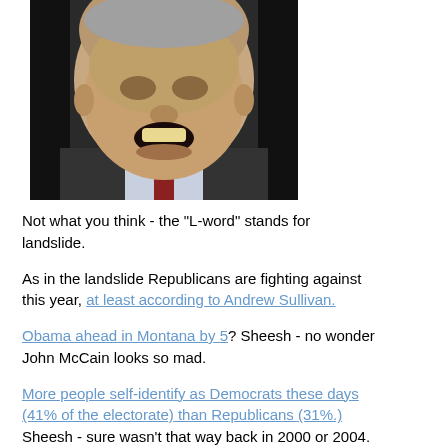[Figure (photo): Close-up photo of an older man with an open mouth expression, wearing a dark suit jacket, white shirt, and dark red tie. The image is in black and white.]
Not what you think - the "L-word" stands for landslide.
As in the landslide Republicans are fighting against this year, at least according to Andrew Sullivan.
Obama ahead in Montana by 5? Sheesh - no wonder John McCain looks so mad.
More people self-identify as Democrats these days (41% of the electorate) than Republicans (31%.) Sheesh - sure wasn't that way back in 2000 or 2004.
Hispanic voters, a crucial part of the electorate